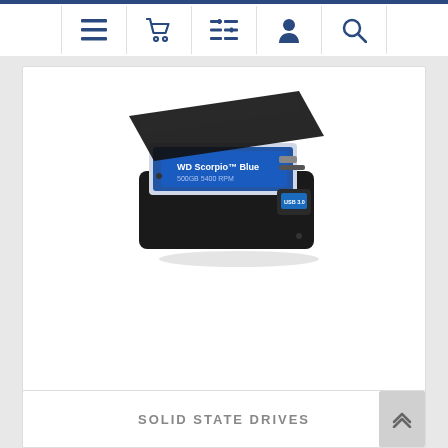Navigation bar with menu, cart, filter, account, and search icons
[Figure (photo): An open external hard drive enclosure showing a hard disk drive (HDD) being inserted, with USB 3.0 port visible. Black enclosure with a WD Blue drive label visible.]
SOLID STATE DRIVES